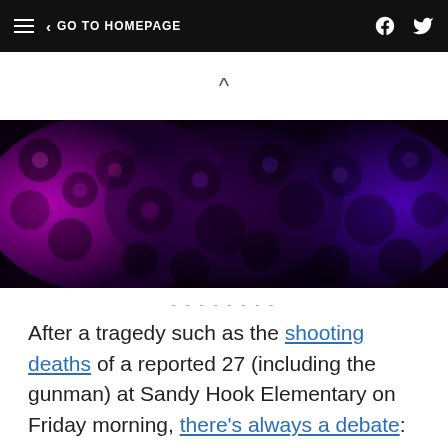GO TO HOMEPAGE
[Figure (photo): A dense arrangement of flowers with pink and purple tones against a dark background, possibly roses or similar blooms.]
After a tragedy such as the shooting deaths of a reported 27 (including the gunman) at Sandy Hook Elementary on Friday morning, there's always a debate: How much time must pass before one can weigh in on the politics on gun control?